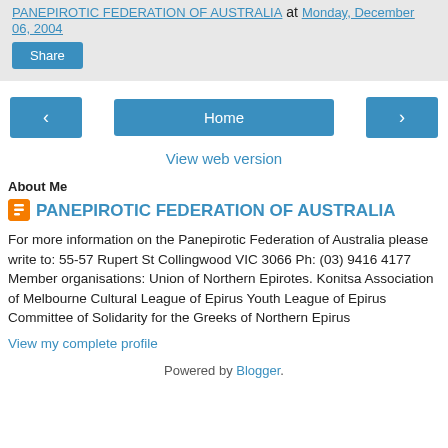PANEPIROTIC FEDERATION OF AUSTRALIA at Monday, December 06, 2004
Share
‹  Home  ›
View web version
About Me
PANEPIROTIC FEDERATION OF AUSTRALIA
For more information on the Panepirotic Federation of Australia please write to: 55-57 Rupert St Collingwood VIC 3066 Ph: (03) 9416 4177 Member organisations: Union of Northern Epirotes. Konitsa Association of Melbourne Cultural League of Epirus Youth League of Epirus Committee of Solidarity for the Greeks of Northern Epirus
View my complete profile
Powered by Blogger.